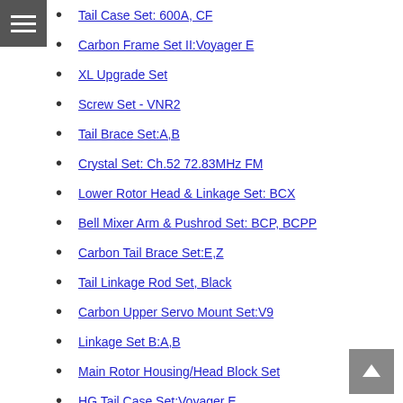Tail Case Set: 600A, CF
Carbon Frame Set II:Voyager E
XL Upgrade Set
Screw Set - VNR2
Tail Brace Set:A,B
Crystal Set: Ch.52 72.83MHz FM
Lower Rotor Head & Linkage Set: BCX
Bell Mixer Arm & Pushrod Set: BCP, BCPP
Carbon Tail Brace Set:E,Z
Tail Linkage Rod Set, Black
Carbon Upper Servo Mount Set:V9
Linkage Set B:A,B
Main Rotor Housing/Head Block Set
HG Tail Case Set:Voyager E
Paddle Control Frame Pushrod Set: BCP, BCPP
Linkage Rod Set: 600A, CF
315mm CF Rotor Blade Set, 3K, Yellow